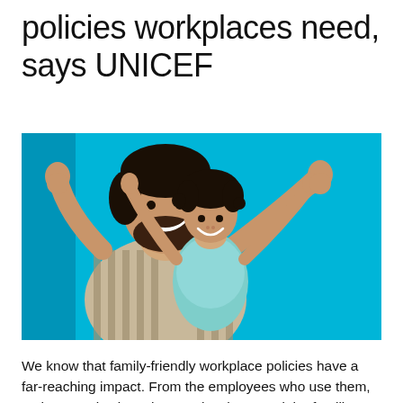policies workplaces need, says UNICEF
[Figure (photo): A smiling man and a young child with arms raised joyfully against a bright blue background. The man wears a striped shirt and the child wears a light blue top.]
We know that family-friendly workplace policies have a far-reaching impact. From the employees who use them, to the organizations that employ them, and the families...